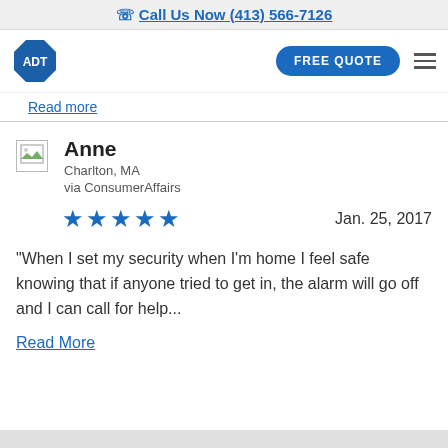Call Us Now (413) 566-7126
[Figure (logo): ADT octagon logo in blue with white text 'ADT']
FREE QUOTE
Read more
Anne
Charlton, MA
via ConsumerAffairs
Jan. 25, 2017
"When I set my security when I'm home I feel safe knowing that if anyone tried to get in, the alarm will go off and I can call for help...
Read More